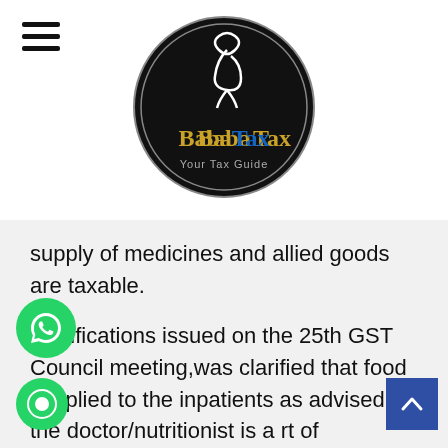[Figure (logo): BabaTax logo — circular black badge with stylized letter, 'BabaTax' in gold/blue text and 'Your Tax Guide' subtitle]
supply of medicines and allied goods are taxable.
Clarifications issued on the 25th GST Council meeting,was clarified that food supplied to the inpatients as advised by the doctor/nutritionist is a part of composite supply of health care and not separately taxable. Other supplies of food by hospital to patients not admitted are taxable. The same principle is applicable in the case of dispensing of medicines